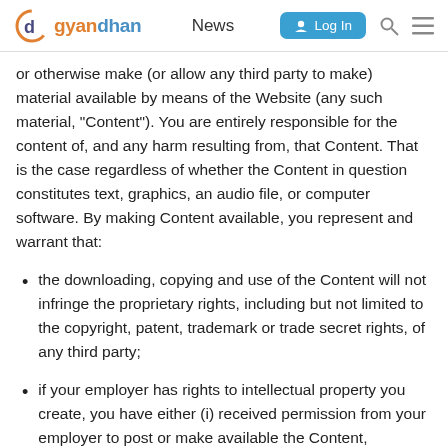gyandhan | News | Log In
or otherwise make (or allow any third party to make) material available by means of the Website (any such material, “Content”). You are entirely responsible for the content of, and any harm resulting from, that Content. That is the case regardless of whether the Content in question constitutes text, graphics, an audio file, or computer software. By making Content available, you represent and warrant that:
the downloading, copying and use of the Content will not infringe the proprietary rights, including but not limited to the copyright, patent, trademark or trade secret rights, of any third party;
if your employer has rights to intellectual property you create, you have either (i) received permission from your employer to post or make available the Content, including but not limited to any software, or (ii) secured from your employer a waiver as to all rights in or to the Content;
you have fully complied with any third-party licenses